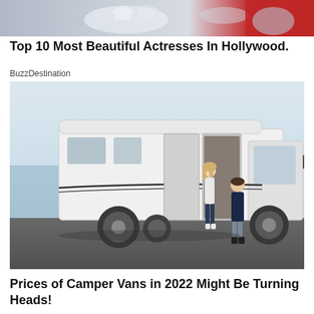[Figure (photo): Partial photo of glamorous accessories with red and silver details, cropped at top of page]
Top 10 Most Beautiful Actresses In Hollywood.
BuzzDestination
[Figure (photo): A man and woman standing in front of a large white camper van parked on a road near water. The woman is blonde in jeans and white top; the man is in dark shirt and shorts.]
Prices of Camper Vans in 2022 Might Be Turning Heads!